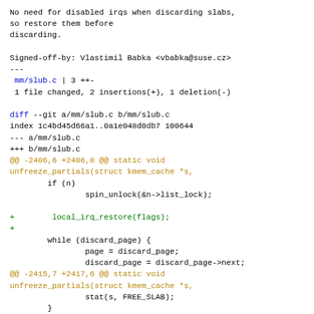No need for disabled irqs when discarding slabs,
so restore them before
discarding.
Signed-off-by: Vlastimil Babka <vbabka@suse.cz>
---
 mm/slub.c | 3 ++-
 1 file changed, 2 insertions(+), 1 deletion(-)
diff --git a/mm/slub.c b/mm/slub.c
index 1c4bd45d66a1..0a1e048d0db7 100644
--- a/mm/slub.c
+++ b/mm/slub.c
@@ -2406,6 +2406,8 @@ static void unfreeze_partials(struct kmem_cache *s,
        if (n)
                spin_unlock(&n->list_lock);

+        local_irq_restore(flags);
+
        while (discard_page) {
                page = discard_page;
                discard_page = discard_page->next;
@@ -2415,7 +2417,6 @@ static void unfreeze_partials(struct kmem_cache *s,
                stat(s, FREE_SLAB);
        }

-        local_irq_restore(flags);
 #endif /* CONFIG_SLUB_CPU_PARTIAL */